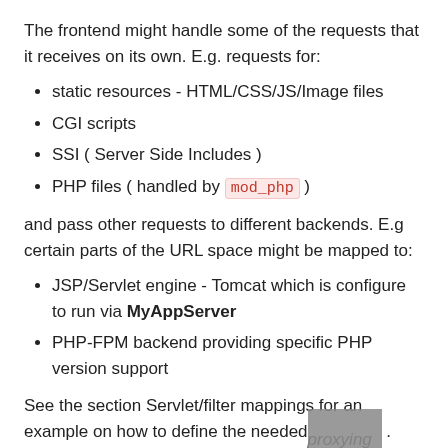The frontend might handle some of the requests that it receives on its own. E.g. requests for:
static resources - HTML/CSS/JS/Image files
CGI scripts
SSI ( Server Side Includes )
PHP files ( handled by mod_php )
and pass other requests to different backends. E.g certain parts of the URL space might be mapped to:
JSP/Servlet engine - Tomcat which is configure to run via MyAppServer
PHP-FPM backend providing specific PHP version support
See the section Servlet/filter mappings for an example on how to define the needed proxying rules .
It's a service suitable for production deployments